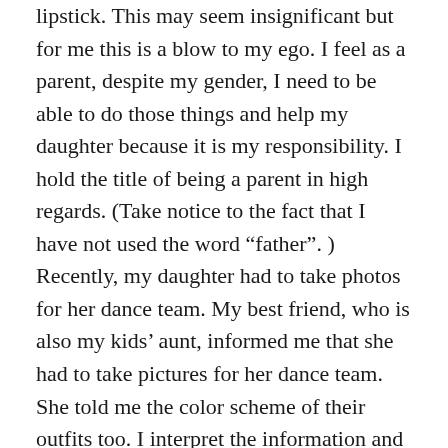lipstick. This may seem insignificant but for me this is a blow to my ego. I feel as a parent, despite my gender, I need to be able to do those things and help my daughter because it is my responsibility. I hold the title of being a parent in high regards. (Take notice to the fact that I have not used the word “father”. ) Recently, my daughter had to take photos for her dance team. My best friend, who is also my kids’ aunt, informed me that she had to take pictures for her dance team. She told me the color scheme of their outfits too. I interpret the information and thought that the pictures were more informal but upon arrival I learned that she should have worn something more formal. Basically something better than leggings and a shirt lol. As I was talking on the phone with my best friend, I could tell she felt bad for not describing the situation better to me. But it is not her fault. She thought I knew more information about the photo shoot